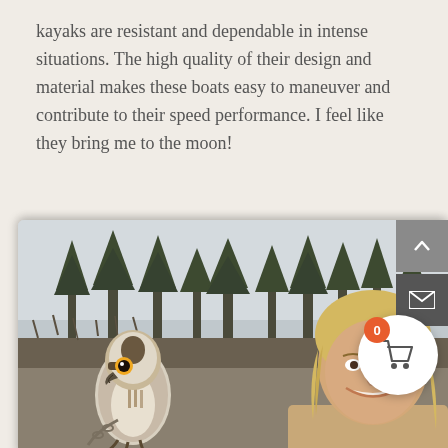kayaks are resistant and dependable in intense situations. The high quality of their design and material makes these boats easy to maneuver and contribute to their speed performance. I feel like they bring me to the moon!
[Figure (photo): Outdoor photo showing a hawk or osprey bird of prey on the left side and a young man with blonde hair on the right, with evergreen trees and overcast sky in the background. UI buttons for scroll-up, mail, and shopping cart are overlaid on the right edge.]